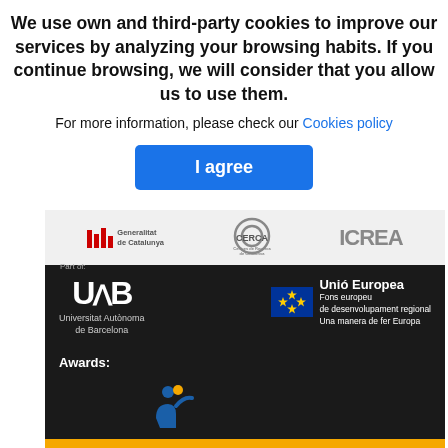We use own and third-party cookies to improve our services by analyzing your browsing habits. If you continue browsing, we will consider that you allow us to use them.
For more information, please check our Cookies policy
[Figure (screenshot): I agree button - blue button for cookie consent]
[Figure (logo): Generalitat de Catalunya logo]
[Figure (logo): CERCA - Centres de Recerca de Catalunya logo]
[Figure (logo): ICREA logo]
[Figure (logo): UAB - Universitat Autònoma de Barcelona logo]
[Figure (logo): Unió Europea - Fons europeu de desenvolupament regional logo]
Awards:
[Figure (logo): HR Excellence in Research award logo]